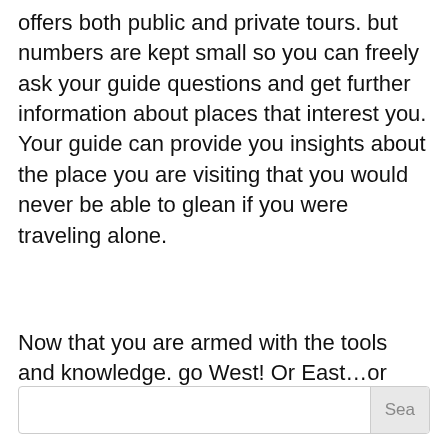offers both public and private tours. but numbers are kept small so you can freely ask your guide questions and get further information about places that interest you. Your guide can provide you insights about the place you are visiting that you would never be able to glean if you were traveling alone.
Now that you are armed with the tools and knowledge. go West! Or East…or South..or North…
[Figure (other): Chat with us button with teal circular chat icon]